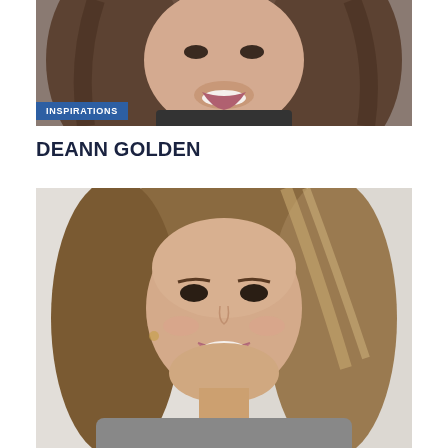[Figure (photo): Partial headshot of a smiling woman with long dark brown wavy hair, cropped at the top of the page]
INSPIRATIONS
DEANN GOLDEN
[Figure (photo): Professional headshot of a smiling woman (DeAnn Golden) with medium-length light brown hair with highlights, against a soft light background]